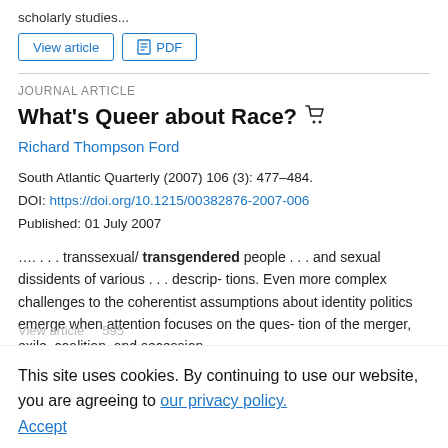scholarly studies...
View article | PDF
JOURNAL ARTICLE
What's Queer about Race?
Richard Thompson Ford
South Atlantic Quarterly (2007) 106 (3): 477–484.
DOI: https://doi.org/10.1215/00382876-2007-006
Published: 01 July 2007
…. . . . transsexual/ transgendered people . . . and sexual dissidents of various . . . descrip- tions. Even more complex challenges to the coherentist assumptions about identity politics emerge when attention focuses on the ques- tion of the merger, exile, coalition, and secession...
This site uses cookies. By continuing to use our website, you are agreeing to our privacy policy. Accept